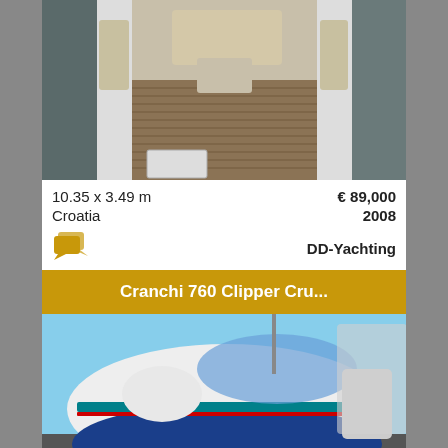[Figure (photo): Aerial view of a motorboat deck at a marina, showing cockpit seating and teak deck]
10.35 x 3.49 m
Croatia
€ 89,000
2008
DD-Yachting
Cranchi 760 Clipper Cru...
[Figure (photo): Cranchi 760 Clipper Cruiser motorboat on dry dock, white hull with teal and red stripe detail]